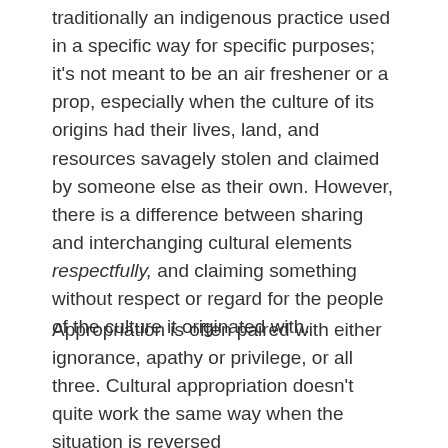traditionally an indigenous practice used in a specific way for specific purposes; it's not meant to be an air freshener or a prop, especially when the culture of its origins had their lives, land, and resources savagely stolen and claimed by someone else as their own. However, there is a difference between sharing and interchanging cultural elements respectfully, and claiming something without respect or regard for the people of the culture it originated with.
Appropriation is often paired with either ignorance, apathy or privilege, or all three. Cultural appropriation doesn't quite work the same way when the situation is reversed